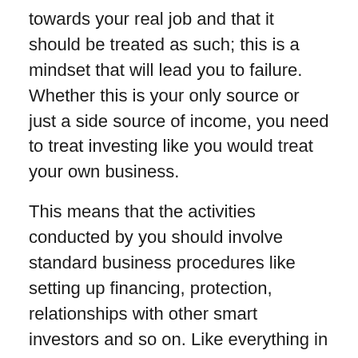towards your real job and that it should be treated as such; this is a mindset that will lead you to failure. Whether this is your only source or just a side source of income, you need to treat investing like you would treat your own business.
This means that the activities conducted by you should involve standard business procedures like setting up financing, protection, relationships with other smart investors and so on. Like everything in life, you get out what you put in, and unfortunately you’re at risk of losing a lot of capital if you treat this with little regard.
Long term > short term
Many people are overly dramatic about the short term